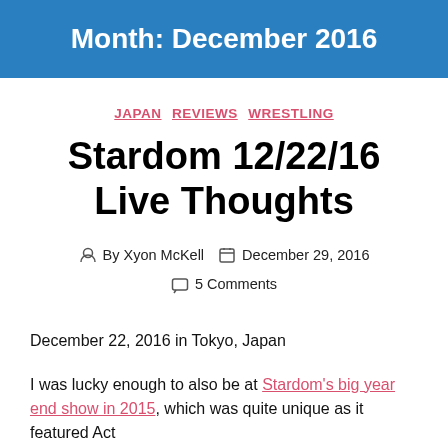Month: December 2016
JAPAN   REVIEWS   WRESTLING
Stardom 12/22/16 Live Thoughts
By Xyon McKell   December 29, 2016   5 Comments
December 22, 2016 in Tokyo, Japan
I was lucky enough to also be at Stardom's big year end show in 2015, which was quite unique as it featured Act